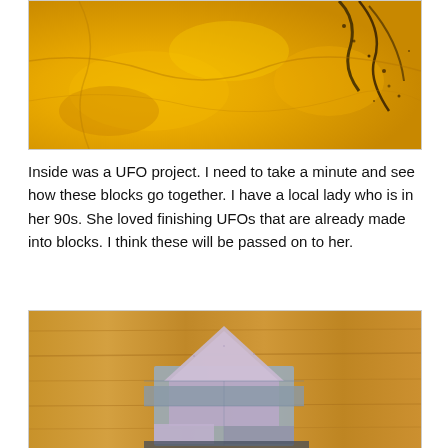[Figure (photo): Close-up photo of crumpled yellow/gold paper or fabric with dark scuff marks and creases on the right side]
Inside was a UFO project.  I need to take a minute and see how these blocks go together.  I have a local lady who is in her 90s.  She loved finishing UFOs that are already made into blocks.  I think these will be passed on to her.
[Figure (photo): Photo of quilting fabric blocks laid out on a wooden floor/table — light purple/lavender and gray patterned triangular quilt pieces arranged together]